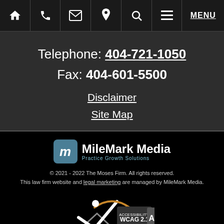Navigation bar with icons: Home, Phone, Email, Location, Search, Menu, MENU
Telephone: 404-721-1050
Fax: 404-601-5500
Disclaimer
Site Map
[Figure (logo): MileMark Media logo with teal icon and text 'MileMark Media' and tagline 'Practice Growth Solutions']
© 2021 - 2022 The Moses Firm. All rights reserved. This law firm website and legal marketing are managed by MileMark Media.
[Figure (other): WCAG 2.1 Level AA Accessibility badge with checkmark and person icon]